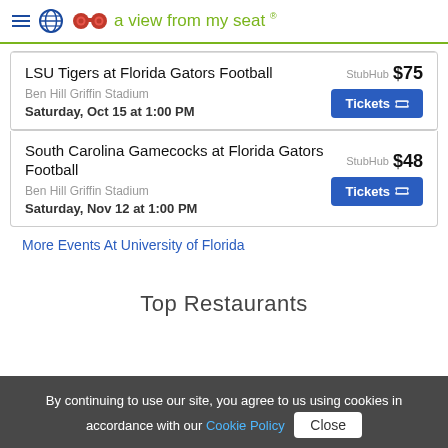a view from my seat
LSU Tigers at Florida Gators Football
Ben Hill Griffin Stadium
Saturday, Oct 15 at 1:00 PM
StubHub $75 Tickets
South Carolina Gamecocks at Florida Gators Football
Ben Hill Griffin Stadium
Saturday, Nov 12 at 1:00 PM
StubHub $48 Tickets
More Events At University of Florida
Top Restaurants
By continuing to use our site, you agree to us using cookies in accordance with our Cookie Policy Close